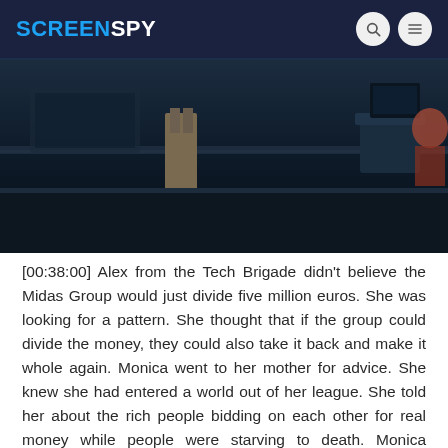SCREENSPY
[Figure (photo): Dark screenshot from a TV show or film showing people in what appears to be an office or control room environment, dimly lit with dark tones]
[00:38:00] Alex from the Tech Brigade didn't believe the Midas Group would just divide five million euros. She was looking for a pattern. She thought that if the group could divide the money, they could also take it back and make it whole again. Monica went to her mother for advice. She knew she had entered a world out of her league. She told her about the rich people bidding on each other for real money while people were starving to death. Monica thought she should just end her relationship with Victor. Monica's mother asked her if she's in love with Victor. She told her some things in life just had a very high price to pay. Sometimes, paying the price wasn't really worth it in